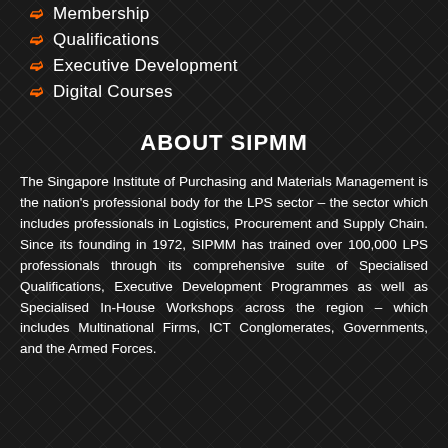Membership
Qualifications
Executive Development
Digital Courses
ABOUT SIPMM
The Singapore Institute of Purchasing and Materials Management is the nation's professional body for the LPS sector – the sector which includes professionals in Logistics, Procurement and Supply Chain. Since its founding in 1972, SIPMM has trained over 100,000 LPS professionals through its comprehensive suite of Specialised Qualifications, Executive Development Programmes as well as Specialised In-House Workshops across the region – which includes Multinational Firms, ICT Conglomerates, Governments, and the Armed Forces.